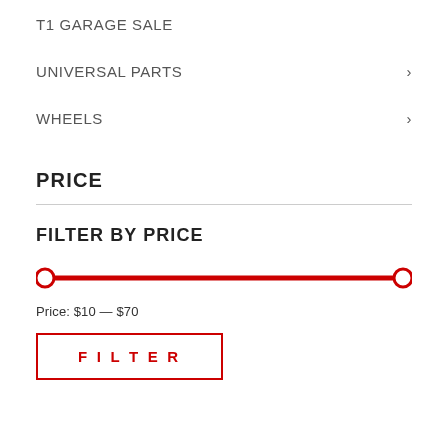T1 GARAGE SALE
UNIVERSAL PARTS
WHEELS
PRICE
FILTER BY PRICE
[Figure (infographic): Price range slider with red track and two circular handles at $10 and $70]
Price: $10 — $70
FILTER